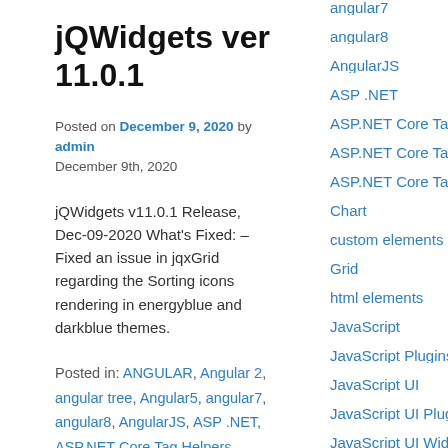jQWidgets ver 11.0.1
Posted on December 9, 2020 by admin
December 9th, 2020
jQWidgets v11.0.1 Release, Dec-09-2020 What's Fixed: – Fixed an issue in jqxGrid regarding the Sorting icons rendering in energyblue and darkblue themes.
Posted in: ANGULAR, Angular 2, angular tree, Angular5, angular7, angular8, AngularJS, ASP .NET, ASP.NET Core Tag Helpers, Chart, custom elements, Grid, html elements, JavaScript, JavaScript Plugins, JavaScript UI, JavaScript UI Plugins, JavaScript UI Widgets, JavaScript Widgets, jQuery, jQuery Plugins
angular7
angular8
AngularJS
ASP .NET
ASP.NET Core Tag H
ASP.NET Core Tag H
ASP.NET Core Tag H
Chart
custom elements
Grid
html elements
JavaScript
JavaScript Plugins
JavaScript UI
JavaScript UI Plugins
JavaScript UI Widgets
JavaScript Widgets
jQuery
jQuery Plugins